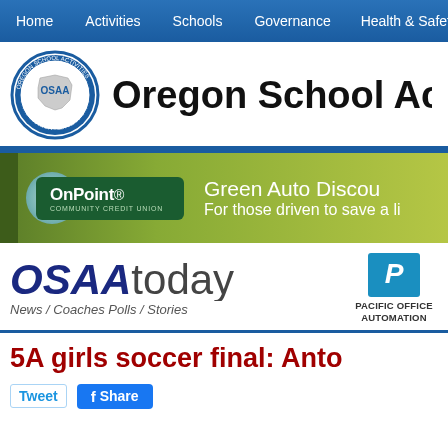Home | Activities | Schools | Governance | Health & Safety | Supp...
[Figure (logo): Oregon School Activities Association (OSAA) circular seal/logo]
Oregon School Acti...
[Figure (illustration): OnPoint Community Credit Union advertisement banner - Green Auto Discount, For those driven to save a li...]
[Figure (logo): OSAAtoday logo with tagline News / Coaches Polls / Stories, alongside Pacific Office Automation logo]
5A girls soccer final: Anto...
Tweet | Share